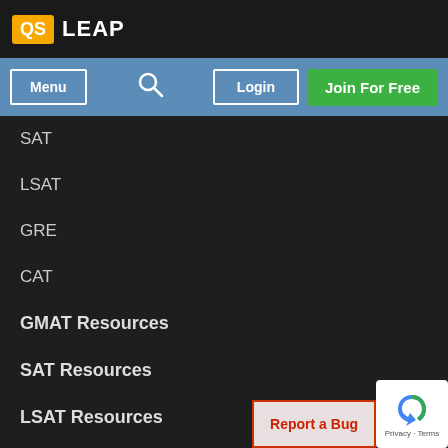QS LEAP
[Figure (screenshot): Navigation bar with Menu button, search icon, Login button, and Join For Free button on a blue background]
SAT
LSAT
GRE
CAT
GMAT Resources
SAT Resources
LSAT Resources
GRE Resources
CAT Resources
Program Directory
University Directory